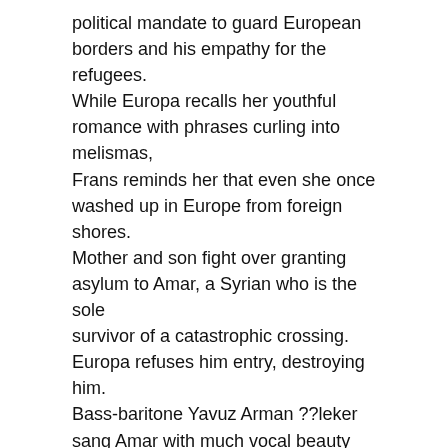political mandate to guard European borders and his empathy for the refugees. While Europa recalls her youthful romance with phrases curling into melismas, Frans reminds her that even she once washed up in Europe from foreign shores. Mother and son fight over granting asylum to Amar, a Syrian who is the sole survivor of a catastrophic crossing. Europa refuses him entry, destroying him. Bass-baritone Yavuz Arman ??leker sang Amar with much vocal beauty and dignity. His slight Turkish accent added to the complexity of the topic under scrutiny. Amar's re-enactment of the drowning with the chorus of migrants was the emotional peak of the opera. The excellent Netherlands Student Chamber Choir